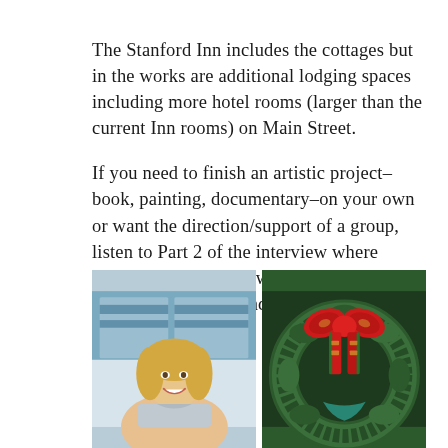The Stanford Inn includes the cottages but in the works are additional lodging spaces including more hotel rooms (larger than the current Inn rooms) on Main Street.
If you need to finish an artistic project– book, painting, documentary–on your own or want the direction/support of a group, listen to Part 2 of the interview where Angela discusses her writing journey and options for retreats and creative community in Stanford and Italy.
[Figure (photo): Two side-by-side photos: left photo shows a smiling blonde woman standing in front of a blue-windowed storefront; right photo shows a Christmas wreath with a red and gold ribbon bow hanging on what appears to be a door or post.]